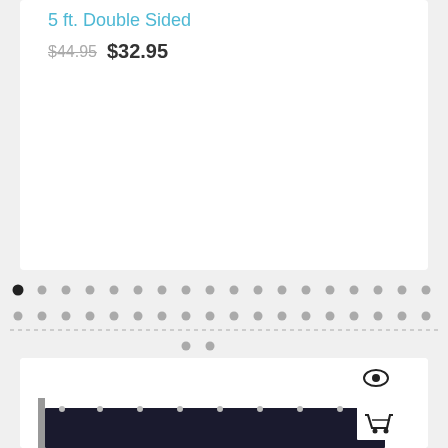5 ft. Double Sided
$44.95  $32.95
[Figure (screenshot): Product image area (white card, empty)]
[Figure (screenshot): Pagination dots: one filled black dot followed by many grey dots in two rows, dashed separator line, two dots below]
[Figure (photo): Second product card showing a dark navy blue banner/flag on a pole with grommets, eye icon and cart icon overlay]